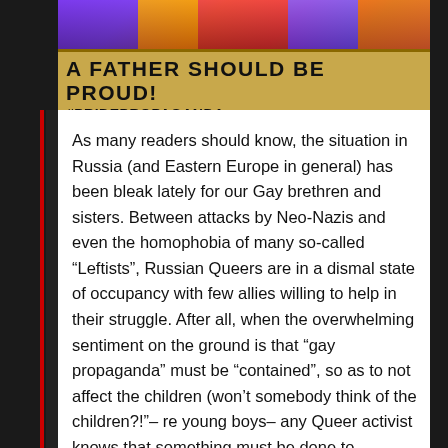[Figure (illustration): Banner image with colorful figures at top, yellow/tan background with bold text reading 'A FATHER SHOULD BE PROUD!' and '#PRIDEPROPAGANDA PRIDEPROPAGANDA.COM']
As many readers should know, the situation in Russia (and Eastern Europe in general) has been bleak lately for our Gay brethren and sisters. Between attacks by Neo-Nazis and even the homophobia of many so-called “Leftists”, Russian Queers are in a dismal state of occupancy with few allies willing to help in their struggle. After all, when the overwhelming sentiment on the ground is that “gay propaganda” must be “contained”, so as to not affect the children (won’t somebody think of the children?!”– re young boys– any Queer activist knows that something must be done to counteract the hate and reactionaries.
While it is but a small step, a group of anonymous Russian artists has embarked on an interesting mission. Subverting the “gay propaganda” skit used by